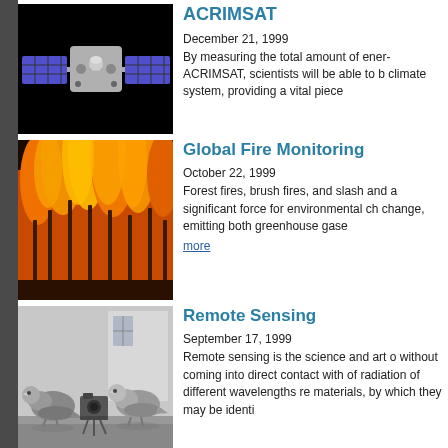[Figure (photo): Illustration of a satellite (ACRIMSAT) with blue solar panels against a black background]
ACRIMSAT
December 21, 1999
By measuring the total amount of energy ACRIMSAT, scientists will be able to b climate system, providing a vital piece
[Figure (photo): Photo of a large forest fire with flames and burning vegetation]
Global Fire Monitoring
October 22, 1999
Forest fires, brush fires, and slash and a significant force for environmental ch change, emitting both greenhouse gase
more
[Figure (photo): Black and white photograph of pigeons with a small camera device attached, used for early aerial remote sensing]
Remote Sensing
September 17, 1999
Remote sensing is the science and art o without coming into direct contact with of radiation of different wavelengths re materials, by which they may be identi